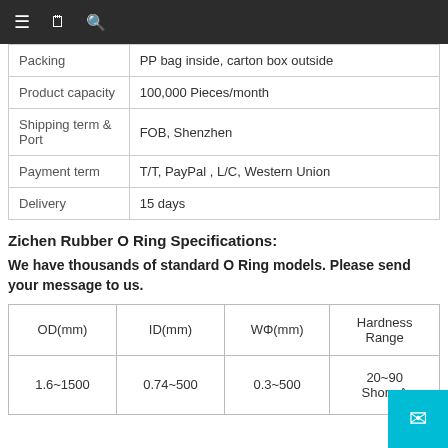Navigation bar with menu, document, and search icons
|  |  |
| --- | --- |
| Packing | PP bag inside, carton box outside |
| Product capacity | 100,000 Pieces/month |
| Shipping term & Port | FOB, Shenzhen |
| Payment term | T/T, PayPal , L/C, Western Union |
| Delivery | 15 days |
Zichen Rubber O Ring Specifications:
We have thousands of standard O Ring models. Please send your message to us.
| OD(mm) | ID(mm) | WΦ(mm) | Hardness Range |
| --- | --- | --- | --- |
| 1.6~1500 | 0.74~500 | 0.3~500 | 20~90 Shore A |